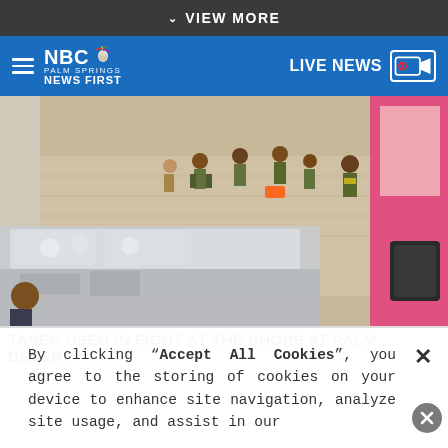VIEW MORE
NBC PALM SPRINGS NEWS FIRST | LIVE NEWS
[Figure (photo): Overhead/elevated view of a shopping mall interior showing multiple security/law enforcement officers in olive/yellow vests responding to an incident, with bystanders visible and a display case in the foreground]
TASER USED IN FIGHT AT THE SHOPS AT PALM DESERT
By clicking “Accept All Cookies”, you agree to the storing of cookies on your device to enhance site navigation, analyze site usage, and assist in our